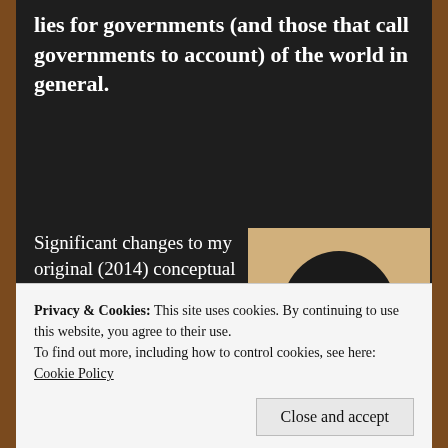lies for governments (and those that call governments to account) of the world in general.
Significant changes to my original (2014) conceptual title were made with the addition
[Figure (illustration): A black ink illustration/caricature of a person's head and face on a yellowed/aged paper background]
Privacy & Cookies: This site uses cookies. By continuing to use this website, you agree to their use.
To find out more, including how to control cookies, see here:
Cookie Policy
Close and accept